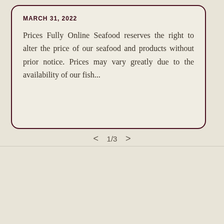MARCH 31, 2022
Prices Fully Online Seafood reserves the right to alter the price of our seafood and products without prior notice. Prices may vary greatly due to the availability of our fish...
< 1/3 >
Subscribe to our emails
he first to know about new exclusive offers.
Chat with us